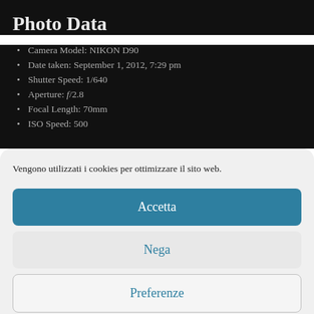Photo Data
Camera Model: NIKON D90
Date taken: September 1, 2012, 7:29 pm
Shutter Speed: 1/640
Aperture: f/2.8
Focal Length: 70mm
ISO Speed: 500
Vengono utilizzati i cookies per ottimizzare il sito web.
Accetta
Nega
Preferenze
Cookie Policy  Privacy Policy